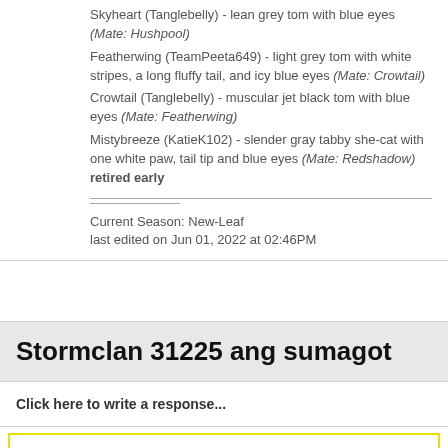Skyheart (Tanglebelly) - lean grey tom with blue eyes (Mate: Hushpool)
Featherwing (TeamPeeta649) - light grey tom with white stripes, a long fluffy tail, and icy blue eyes (Mate: Crowtail)
Crowtail (Tanglebelly) - muscular jet black tom with blue eyes (Mate: Featherwing)
Mistybreeze (KatieK102) - slender gray tabby she-cat with one white paw, tail tip and blue eyes (Mate: Redshadow) retired early
Current Season: New-Leaf
last edited on Jun 01, 2022 at 02:46PM
Stormclan 31225 ang sumagot
Click here to write a response...